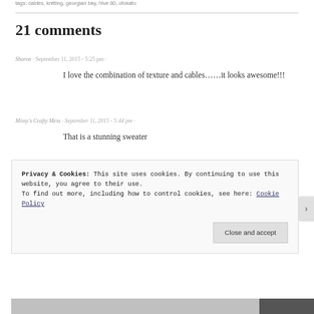tags: cables, knitting, georgian bay, hive 80, ofokafo
21 comments
Sharon · September 11, 2015 - 5:25 pm ·
I love the combination of texture and cables……it looks awesome!!!
Missy's Crafty Mess · September 11, 2015 - 5:44 pm ·
That is a stunning sweater
Privacy & Cookies: This site uses cookies. By continuing to use this website, you agree to their use.
To find out more, including how to control cookies, see here: Cookie Policy
Close and accept